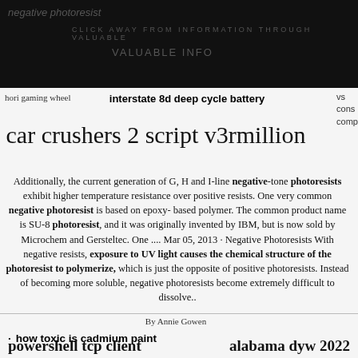negative photoresist
interstate 8d deep cycle battery
hori gaming wheel
vs cons comp
car crushers 2 script v3rmillion
Additionally, the current generation of G, H and I-line negative-tone photoresists exhibit higher temperature resistance over positive resists. One very common negative photoresist is based on epoxy-based polymer. The common product name is SU-8 photoresist, and it was originally invented by IBM, but is now sold by Microchem and Gersteltec. One .... Mar 05, 2013 · Negative Photoresists With negative resists, exposure to UV light causes the chemical structure of the photoresist to polymerize, which is just the opposite of positive photoresists. Instead of becoming more soluble, negative photoresists become extremely difficult to dissolve..
By Annie Gowen
how toxic is cadmium paint
powershell tcp client
alabama dyw 2022